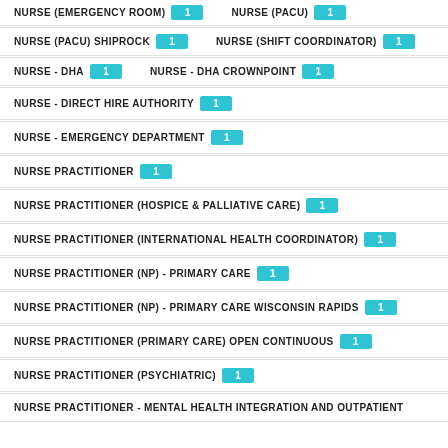NURSE (PACU) SHIPROCK (1)   NURSE (SHIFT COORDINATOR) (1)
NURSE - DHA (1)   NURSE - DHA CROWNPOINT (1)
NURSE - DIRECT HIRE AUTHORITY (1)
NURSE - EMERGENCY DEPARTMENT (1)
NURSE PRACTITIONER (1)
NURSE PRACTITIONER (HOSPICE & PALLIATIVE CARE) (1)
NURSE PRACTITIONER (INTERNATIONAL HEALTH COORDINATOR) (1)
NURSE PRACTITIONER (NP) - PRIMARY CARE (1)
NURSE PRACTITIONER (NP) - PRIMARY CARE WISCONSIN RAPIDS (1)
NURSE PRACTITIONER (PRIMARY CARE) OPEN CONTINUOUS (1)
NURSE PRACTITIONER (PSYCHIATRIC) (1)
NURSE PRACTITIONER - MENTAL HEALTH INTEGRATION AND OUTPATIENT (1)